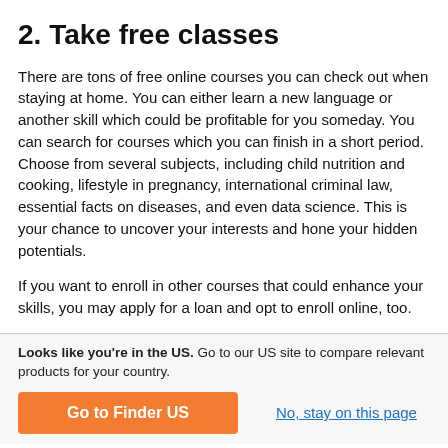2. Take free classes
There are tons of free online courses you can check out when staying at home. You can either learn a new language or another skill which could be profitable for you someday. You can search for courses which you can finish in a short period. Choose from several subjects, including child nutrition and cooking, lifestyle in pregnancy, international criminal law, essential facts on diseases, and even data science. This is your chance to uncover your interests and hone your hidden potentials.
If you want to enroll in other courses that could enhance your skills, you may apply for a loan and opt to enroll online, too.
Looks like you're in the US. Go to our US site to compare relevant products for your country.
Go to Finder US
No, stay on this page